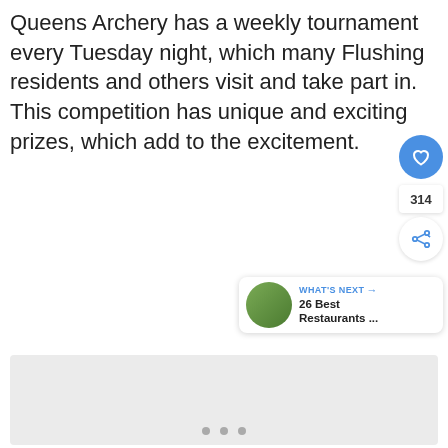Queens Archery has a weekly tournament every Tuesday night, which many Flushing residents and others visit and take part in. This competition has unique and exciting prizes, which add to the excitement.
[Figure (photo): A large light gray placeholder image box below the text, with three small gray dots near the bottom center, a blue circular heart/like button on the right, a count showing 314, a white circular share button, and a 'What's Next' card with a thumbnail, showing '26 Best Restaurants ...' text]